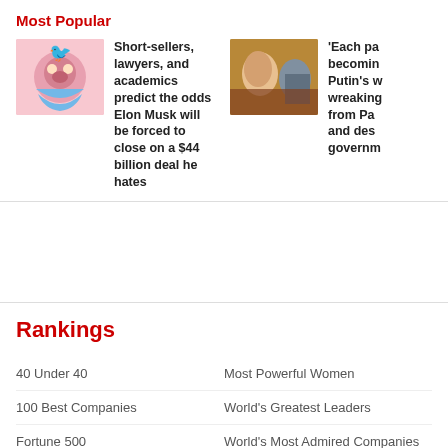Most Popular
Short-sellers, lawyers, and academics predict the odds Elon Musk will be forced to close on a $44 billion deal he hates
'Each pa becoming Putin's w wreaking from Pa and des governm
Rankings
40 Under 40
Most Powerful Women
100 Best Companies
World's Greatest Leaders
Fortune 500
World's Most Admired Companies
Global 500
See All Rankings